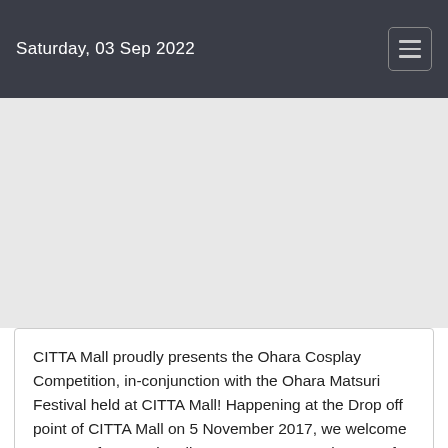Saturday, 03 Sep 2022
CITTA Mall proudly presents the Ohara Cosplay Competition, in-conjunction with the Ohara Matsuri Festival held at CITTA Mall! Happening at the Drop off point of CITTA Mall on 5 November 2017, we welcome anyone of any nationality or age group to take part! If you are below 18 years of age, kindly obtain relevant permissions from parents/guardians or institutions where applicable.